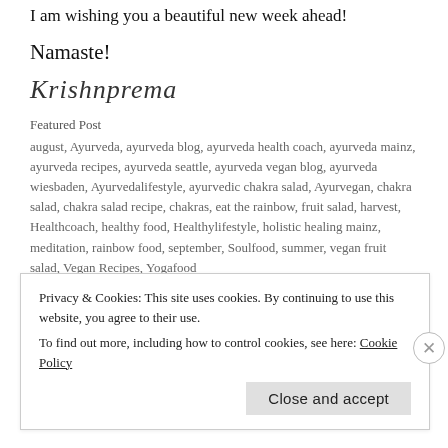I am wishing you a beautiful new week ahead!
Namaste!
Krishnprema
Featured Post
august, Ayurveda, ayurveda blog, ayurveda health coach, ayurveda mainz, ayurveda recipes, ayurveda seattle, ayurveda vegan blog, ayurveda wiesbaden, Ayurvedalifestyle, ayurvedic chakra salad, Ayurvegan, chakra salad, chakra salad recipe, chakras, eat the rainbow, fruit salad, harvest, Healthcoach, healthy food, Healthylifestyle, holistic healing mainz, meditation, rainbow food, september, Soulfood, summer, vegan fruit salad, Vegan Recipes, Yogafood
Privacy & Cookies: This site uses cookies. By continuing to use this website, you agree to their use.
To find out more, including how to control cookies, see here: Cookie Policy
Close and accept